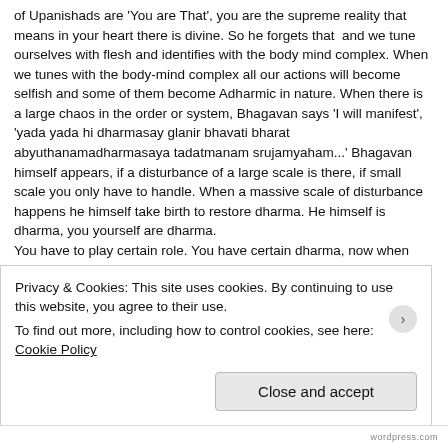of Upanishads are 'You are That', you are the supreme reality that means in your heart there is divine. So he forgets that  and we tune ourselves with flesh and identifies with the body mind complex. When we tunes with the body-mind complex all our actions will become selfish and some of them become Adharmic in nature. When there is a large chaos in the order or system, Bhagavan says 'I will manifest', 'yada yada hi dharmasay glanir bhavati bharat abyuthanamadharmasaya tadatmanam srujamyaham...' Bhagavan himself appears, if a disturbance of a large scale is there, if small scale you only have to handle. When a massive scale of disturbance happens he himself take birth to restore dharma. He himself is dharma, you yourself are dharma.
You have to play certain role. You have certain dharma, now when you have to play role, the dharma of your profession, vritti dharma.  Then we have deha dharma  which is there to maintain the body, or dharma of husband, wife or children is there and dharma of a friend is there and so all these are Dharmas to maintain the order. If you start doing
Privacy & Cookies: This site uses cookies. By continuing to use this website, you agree to their use.
To find out more, including how to control cookies, see here: Cookie Policy